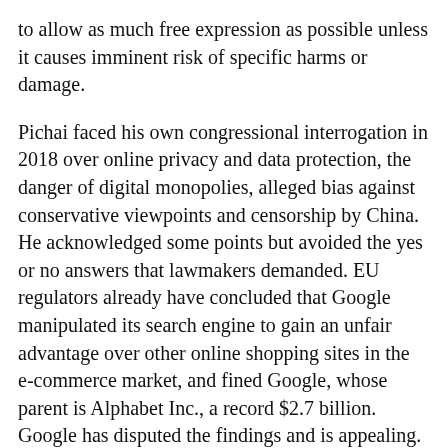to allow as much free expression as possible unless it causes imminent risk of specific harms or damage.
Pichai faced his own congressional interrogation in 2018 over online privacy and data protection, the danger of digital monopolies, alleged bias against conservative viewpoints and censorship by China. He acknowledged some points but avoided the yes or no answers that lawmakers demanded. EU regulators already have concluded that Google manipulated its search engine to gain an unfair advantage over other online shopping sites in the e-commerce market, and fined Google, whose parent is Alphabet Inc., a record $2.7 billion. Google has disputed the findings and is appealing.
Attorneys general from both parties in 50 states and territories, led by Texas, launched an antitrust investigation of Google in September, focused on its online advertising business.